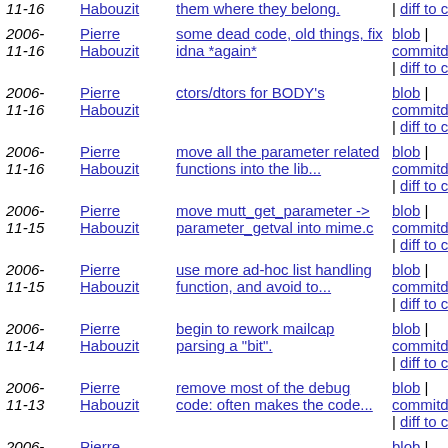| Date | Author | Description | Links |
| --- | --- | --- | --- |
| 2006-11-16 | Pierre Habouzit | some dead code, old things, fix idna *again* | blob | commitdiff | raw | diff to current |
| 2006-11-16 | Pierre Habouzit | ctors/dtors for BODY's | blob | commitdiff | raw | diff to current |
| 2006-11-16 | Pierre Habouzit | move all the parameter related functions into the lib... | blob | commitdiff | raw | diff to current |
| 2006-11-15 | Pierre Habouzit | move mutt_get_parameter -> parameter_getval into mime.c | blob | commitdiff | raw | diff to current |
| 2006-11-15 | Pierre Habouzit | use more ad-hoc list handling function, and avoid to... | blob | commitdiff | raw | diff to current |
| 2006-11-14 | Pierre Habouzit | begin to rework mailcap parsing a "bit". | blob | commitdiff | raw | diff to current |
| 2006-11-13 | Pierre Habouzit | remove most of the debug code: often makes the code... | blob | commitdiff | raw | diff to current |
| 2006-... | Pierre ... |  | blob | |